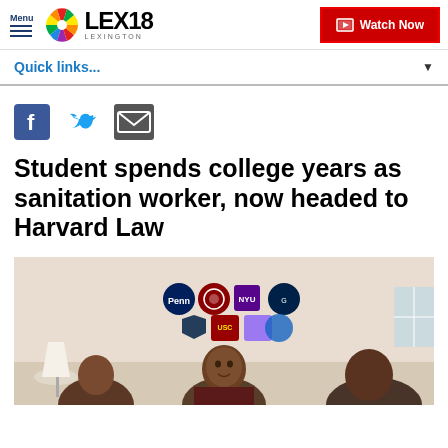Menu  LEX18 LEXINGTON  Watch Now
Quick links...
[Figure (screenshot): Social share icons: Facebook, Twitter, Email]
Student spends college years as sanitation worker, now headed to Harvard Law
[Figure (photo): Photo of a student sitting in a room with college/university stickers on the wall behind him including Penn, NYU, Georgetown and others; another person visible to the right]